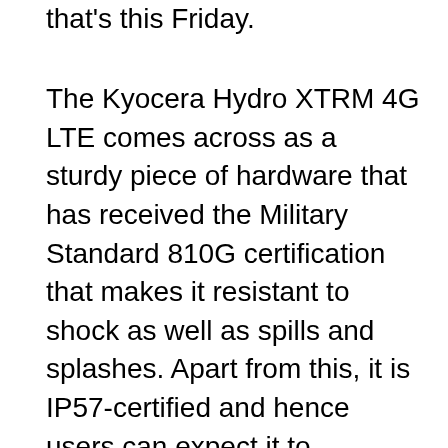that's this Friday.
The Kyocera Hydro XTRM 4G LTE comes across as a sturdy piece of hardware that has received the Military Standard 810G certification that makes it resistant to shock as well as spills and splashes. Apart from this, it is IP57-certified and hence users can expect it to withstand dust and stay immersed in about a meter of water for close to half an hour. Another advantage of the phone is that it offers compliance to the 4G LTE mobile network of the service provider